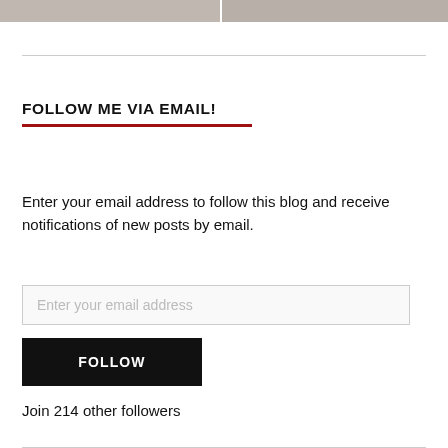[Figure (photo): Partial view of two photo thumbnails at the top of the page — a group photo on the left and another group photo on the right.]
FOLLOW ME VIA EMAIL!
Enter your email address to follow this blog and receive notifications of new posts by email.
Enter your email address
FOLLOW
Join 214 other followers